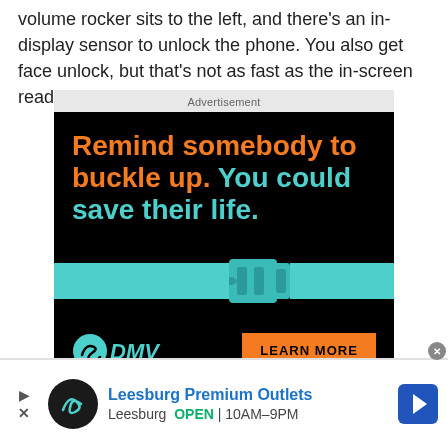volume rocker sits to the left, and there's an in-display sensor to unlock the phone. You also get face unlock, but that's not as fast as the in-screen reader.
[Figure (screenshot): Advertisement banner: DMV seatbelt safety ad. Black background with orange and teal text reading 'Remind somebody to buckle up. You could save their life.' with an image of a seatbelt buckle and a DMV logo with 'LEARN MORE' orange button.]
[Figure (screenshot): Bottom advertisement bar for Leesburg Premium Outlets showing black circular logo, title 'Leesburg Premium Outlets' in blue, location 'Leesburg' with 'OPEN' in green and hours '10AM-9PM', and a blue navigation arrow icon on the right.]